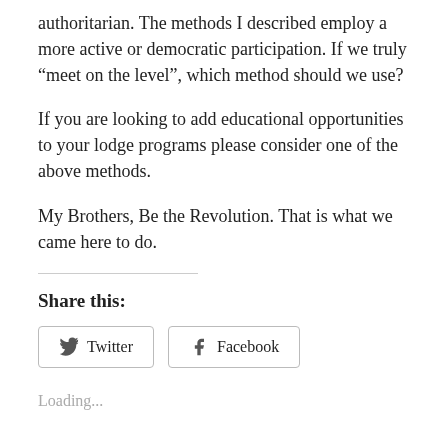authoritarian. The methods I described employ a more active or democratic participation. If we truly “meet on the level”, which method should we use?
If you are looking to add educational opportunities to your lodge programs please consider one of the above methods.
My Brothers, Be the Revolution. That is what we came here to do.
Share this:
[Figure (other): Twitter and Facebook share buttons]
Loading...